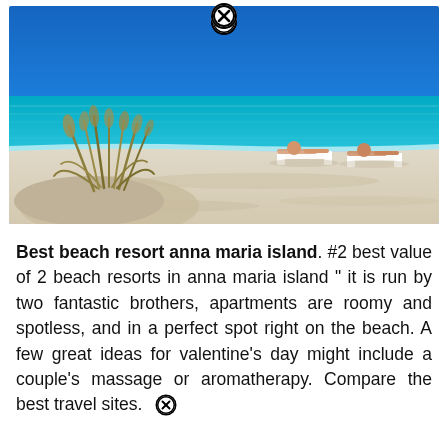[Figure (photo): A tropical beach scene showing white sand, turquoise water, blue sky, beach grass dunes in the foreground, and two people reclining on lounge chairs near the water's edge. A close button (X in circle) appears at the top center of the image.]
Best beach resort anna maria island. #2 best value of 2 beach resorts in anna maria island " it is run by two fantastic brothers, apartments are roomy and spotless, and in a perfect spot right on the beach. A few great ideas for valentine's day might include a couple's massage or aromatherapy. Compare the best travel sites.